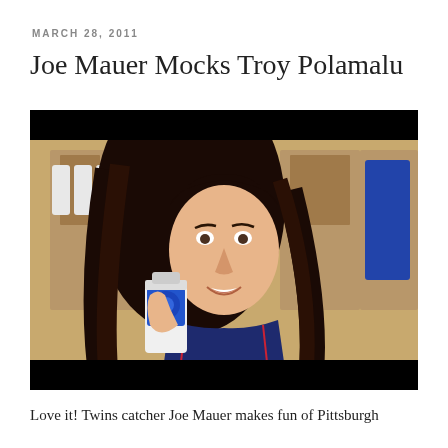MARCH 28, 2011
Joe Mauer Mocks Troy Polamalu
[Figure (photo): Joe Mauer wearing a long dark wig mimicking Troy Polamalu's hair, holding a shampoo bottle, standing in a baseball locker room wearing a dark blue Minnesota Twins jersey. Blue jerseys and wooden lockers are visible in the background.]
Love it! Twins catcher Joe Mauer makes fun of Pittsburgh